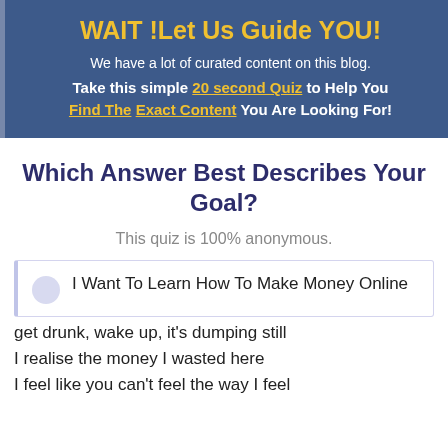WAIT !Let Us Guide YOU!
We have a lot of curated content on this blog.
Take this simple 20 second Quiz to Help You
Find The Exact Content You Are Looking For!
Which Answer Best Describes Your Goal?
This quiz is 100% anonymous.
I Want To Learn How To Make Money Online
get drunk, wake up, it's dumping still
I realise the money I wasted here
I feel like you can't feel the way I feel